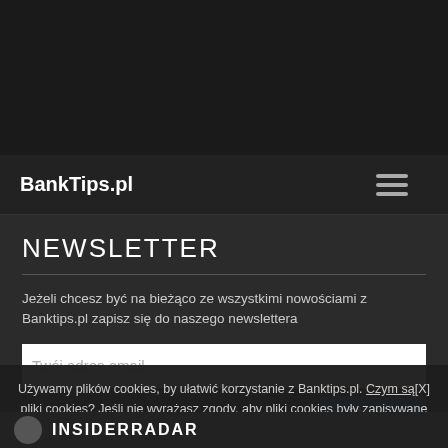BankTips.pl
NEWSLETTER
Jeżeli chcesz być na bieżąco ze wszystkimi nowościami z Banktips.pl zapisz się do naszego newslettera
Twój adres email
Doda
Używamy plików cookies, by ułatwić korzystanie z Banktips.pl. Czym są pliki cookies?[X] Jeśli nie wyrażasz zgody, aby pliki cookies były zapisywane na Twoim komputerze, zmień ustawienia swojej przeglądarki internetowej.
INSIDERRADAR